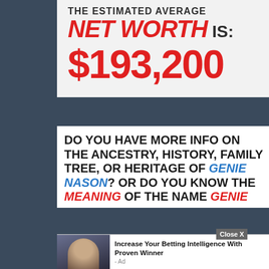THE ESTIMATED AVERAGE NET WORTH IS: $193,200
DO YOU HAVE MORE INFO ON THE ANCESTRY, HISTORY, FAMILY TREE, OR HERITAGE OF GENIE NASON? OR DO YOU KNOW THE MEANING OF THE NAME GENIE
[Figure (screenshot): Advertisement overlay: Increase Your Betting Intelligence With Proven Winner - Ad, with a photo of a man in a dark setting]
Close X